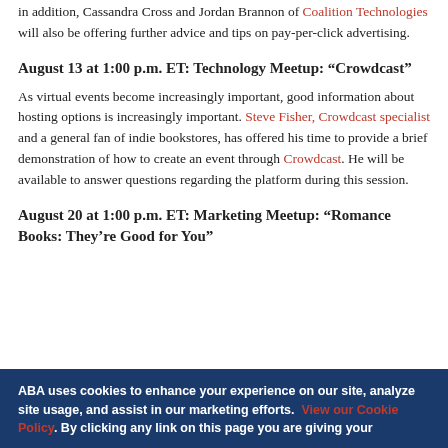in addition, Cassandra Cross and Jordan Brannon of Coalition Technologies will also be offering further advice and tips on pay-per-click advertising.
August 13 at 1:00 p.m. ET: Technology Meetup: “Crowdcast”
As virtual events become increasingly important, good information about hosting options is increasingly important. Steve Fisher, Crowdcast specialist and a general fan of indie bookstores, has offered his time to provide a brief demonstration of how to create an event through Crowdcast. He will be available to answer questions regarding the platform during this session.
August 20 at 1:00 p.m. ET: Marketing Meetup: “Romance Books: They’re Good for You”
ABA uses cookies to enhance your experience on our site, analyze site usage, and assist in our marketing efforts. View our Cookie Policy. By clicking any link on this page you are giving your